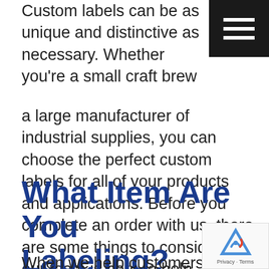Custom labels can be as unique and distinctive as necessary. Whether you're a small craft brewer or a large manufacturer of industrial supplies, you can choose the perfect custom labels for all of your products and applications. Before you complete an order with us, there are some things to consider, and our team is here to help. Read today's Label Solutions blog to learn more about choosing the right custom labels for your business.
What Item Are You Labeling?
When we help customers choose custom labels,